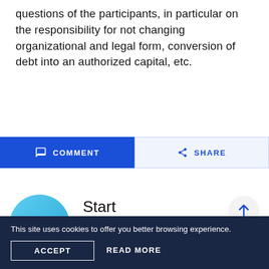questions of the participants, in particular on the responsibility for not changing organizational and legal form, conversion of debt into an authorized capital, etc.
[Figure (other): COMMENT button (blue) and SHARE button (light blue outline) side by side]
[Figure (other): Telegram bot promotional section with teal circle avatar and text 'Start in the Telegram bot' with scroll-to-top button]
This site uses cookies to offer you better browsing experience.
ACCEPT
READ MORE